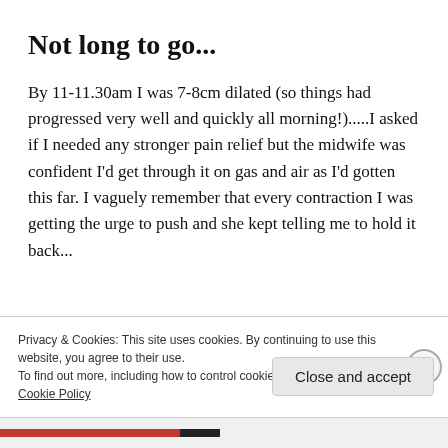Not long to go...
By 11-11.30am I was 7-8cm dilated (so things had progressed very well and quickly all morning!).....I asked if I needed any stronger pain relief but the midwife was confident I'd get through it on gas and air as I'd gotten this far. I vaguely remember that every contraction I was getting the urge to push and she kept telling me to hold it back...
Privacy & Cookies: This site uses cookies. By continuing to use this website, you agree to their use.
To find out more, including how to control cookies, see here: Cookie Policy
Close and accept